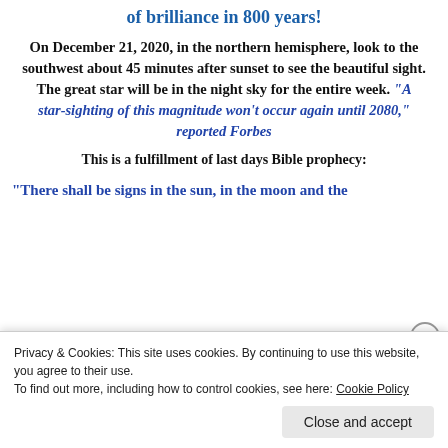of brilliance in 800 years!
On December 21, 2020, in the northern hemisphere, look to the southwest about 45 minutes after sunset to see the beautiful sight. The great star will be in the night sky for the entire week. “A star-sighting of this magnitude won’t occur again until 2080,” reported Forbes
This is a fulfillment of last days Bible prophecy:
“There shall be signs in the sun, in the moon and the
Privacy & Cookies: This site uses cookies. By continuing to use this website, you agree to their use.
To find out more, including how to control cookies, see here: Cookie Policy